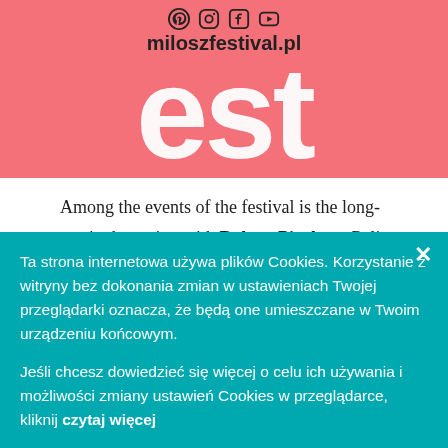[Figure (logo): Pink banner with large white festival logo text, social media icons (Pinterest, Instagram, Facebook, YouTube), and miloszfestival.pl domain text]
Among the events of the festival is the long-awaited meeting with Robert Pinsky, a Pulitzer Prize-nominated poet and a translator of the works of Czesław Miłosz, gathered in a volume titled The Separate Notebooks. Krakow will be also visited
Ta strona internetowa używa plików Cookies. Korzystanie z witryny bez dokonania zmian w ustawieniach Twojej przeglądarki oznacza, że będą one umieszczane w Twoim urządzeniu końcowym.
Jeśli chcesz dowiedzieć się więcej o celu ich używania i możliwości zmiany ustawień Cookies w przeglądarce, kliknij czytaj więcej